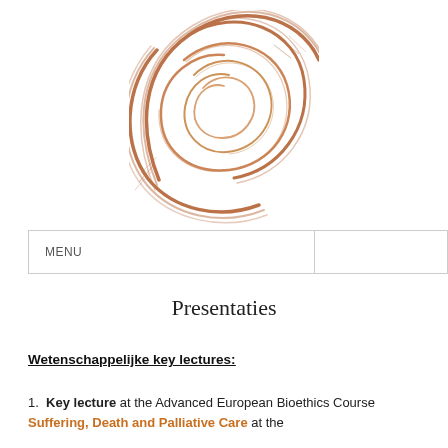[Figure (logo): Circular swirl logo in brown/copper tones, concentric spiral rings hand-drawn style]
MENU
Presentaties
Wetenschappelijke key lectures:
Key lecture at the Advanced European Bioethics Course Suffering, Death and Palliative Care at the